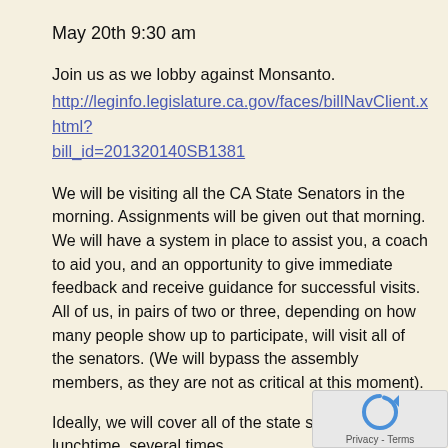May 20th 9:30 am
Join us as we lobby against Monsanto.
http://leginfo.legislature.ca.gov/faces/billNavClient.xhtml?bill_id=201320140SB1381
We will be visiting all the CA State Senators in the morning. Assignments will be given out that morning. We will have a system in place to assist you, a coach to aid you, and an opportunity to give immediate feedback and receive guidance for successful visits. All of us, in pairs of two or three, depending on how many people show up to participate, will visit all of the senators. (We will bypass the assembly members, as they are not as critical at this moment).
Ideally, we will cover all of the state senators before lunchtime, several times.
SB 1381, the GE (GMO) Food Labeling bill, is now on suspense in the Appropriations Committee, as of last Monday. We want to “push” for the bill to come off suspense